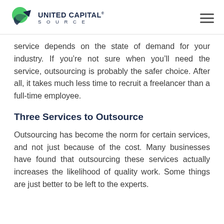United Capital Source
service depends on the state of demand for your industry. If you’re not sure when you’ll need the service, outsourcing is probably the safer choice. After all, it takes much less time to recruit a freelancer than a full-time employee.
Three Services to Outsource
Outsourcing has become the norm for certain services, and not just because of the cost. Many businesses have found that outsourcing these services actually increases the likelihood of quality work. Some things are just better to be left to the experts.